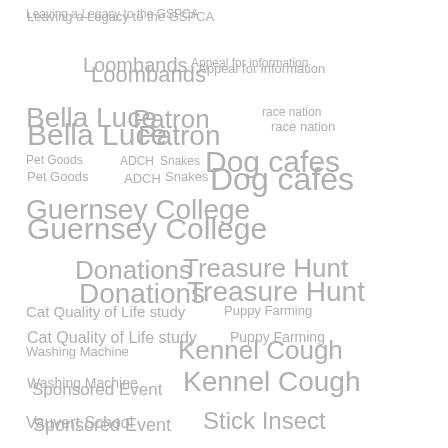[Figure (infographic): Tag cloud featuring various GSPCA-related topics in different font sizes and positions, all in grey color. Tags include: Leaving a Legacy to the GSPCA, Loombands, Appeal for information, Bella Luce, Patron, race nation, Pet Goods, ADCH, Snakes, Dog cafes, Guernsey College, Donations, Treasure Hunt, Cat Quality of Life study, Puppy Farming, Washing Machine, Kennel Cough, Sponsored Event, Vauvert School, Stick Insect, Made In Guernsey, Party, Bingo, Guernsey GSPCA, Ceva Awards for Animal Welfare 2018, Sure, Newsletter, gecko, Aladdins Cave, GSPCA Cupcake Week, Chaos]